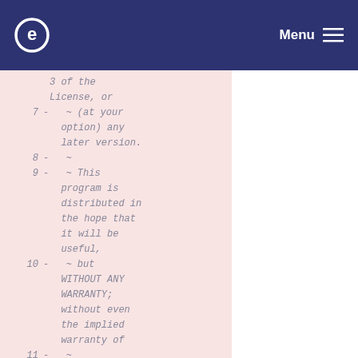e Menu
3 of the
License, or
7  -  ~ (at your
     option) any
     later version.
8  -  ~
9  -  ~ This
     program is
     distributed in
     the hope that
     it will be
     useful,
10 -  ~ but
     WITHOUT ANY
     WARRANTY;
     without even
     the implied
     warranty of
11 -  ~
     MERCHANTABILITY